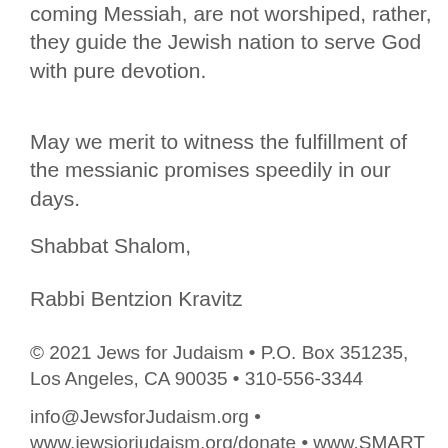coming Messiah, are not worshiped, rather, they guide the Jewish nation to serve God with pure devotion.
May we merit to witness the fulfillment of the messianic promises speedily in our days.
Shabbat Shalom,
Rabbi Bentzion Kravitz
© 2021 Jews for Judaism • P.O. Box 351235, Los Angeles, CA 90035 • 310-556-3344
info@JewsforJudaism.org • www.jewsjorjudaism.org/donate • www.SMART